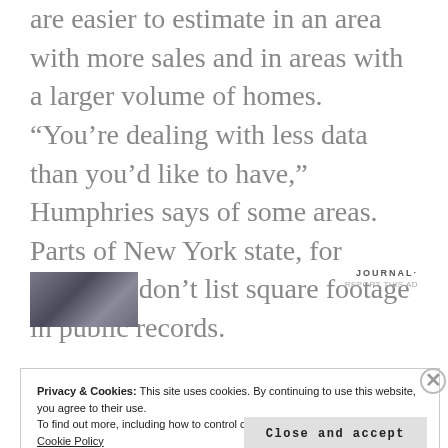are easier to estimate in an area with more sales and in areas with a larger volume of homes. “You’re dealing with less data than you’d like to have,” Humphries says of some areas. Parts of New York state, for example, don’t list square footage in public records.
[Figure (photo): Small thumbnail photo, dark toned image]
JOURNAL·
REPORT THIS AD
Privacy & Cookies: This site uses cookies. By continuing to use this website, you agree to their use.
To find out more, including how to control cookies, see here:
Cookie Policy
Close and accept